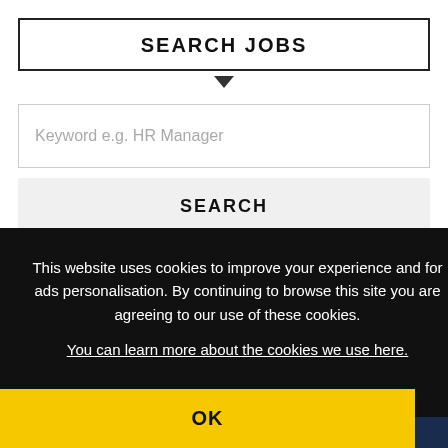SEARCH JOBS
Keyword e.g. HR Manager
SEARCH
This website uses cookies to improve your experience and for ads personalisation. By continuing to browse this site you are agreeing to our use of these cookies.
You can learn more about the cookies we use here.
OK
REGIS NOW